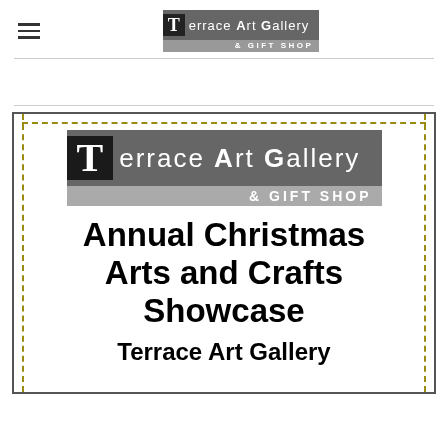Terrace Art Gallery & Gift Shop
[Figure (logo): Terrace Art Gallery & Gift Shop logo in page header]
[Figure (infographic): Flyer for Annual Christmas Arts and Crafts Showcase at Terrace Art Gallery, with dashed border decoration and large logo]
Annual Christmas Arts and Crafts Showcase
Terrace Art Gallery